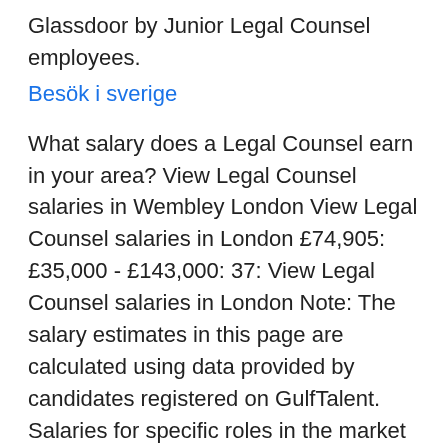Glassdoor by Junior Legal Counsel employees.
Besök i sverige
What salary does a Legal Counsel earn in your area? View Legal Counsel salaries in Wembley London View Legal Counsel salaries in London £74,905: £35,000 - £143,000: 37: View Legal Counsel salaries in London Note: The salary estimates in this page are calculated using data provided by candidates registered on GulfTalent. Salaries for specific roles in the market may vary from the estimates provided here, depending on the industry, type of employer, responsibilities of the role and the profile of the individual. 2021-04-06 · As we previously stated, general counsel salaries can vary depending on the industry.